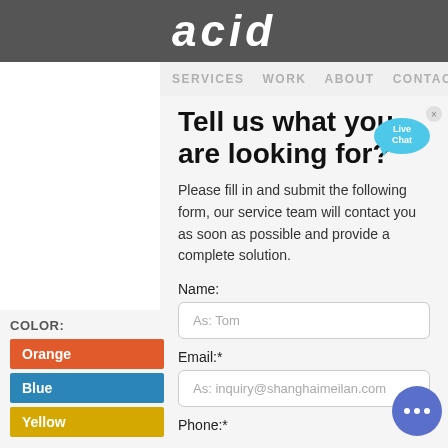acid
SERVICES   WORK   ABOUT   CONTACT
Tell us what you are looking for?
Please fill in and submit the following form, our service team will contact you as soon as possible and provide a complete solution.
[Figure (illustration): Live Chat speech bubble icon in light blue]
Name:
As: Tom
Email:*
As: inquiry@shanghaimeilan.com
Phone:*
COLOR:
Orange
Blue
Yellow
[Figure (illustration): Blue circle chat button with three dots]